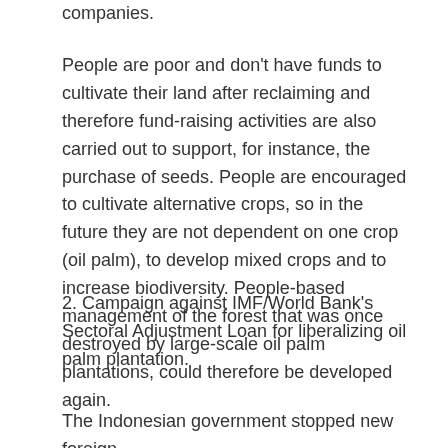companies.
People are poor and don't have funds to cultivate their land after reclaiming and therefore fund-raising activities are also carried out to support, for instance, the purchase of seeds. People are encouraged to cultivate alternative crops, so in the future they are not dependent on one crop (oil palm), to develop mixed crops and to increase biodiversity. People-based management of the forest that was once destroyed by large-scale oil palm plantations, could therefore be developed again.
2. Campaign against IMF/World Bank's Sectoral Adjustment Loan for liberalizing oil palm plantation.
The Indonesian government stopped new foreign